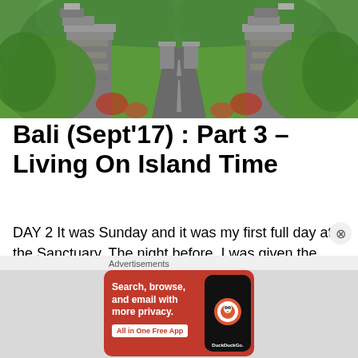[Figure (photo): Balinese temple gate (candi bentar) with a long driveway flanked by lush greenery and trees]
Bali (Sept'17) : Part 3 – Living On Island Time
DAY 2 It was Sunday and it was my first full day at the Sanctuary. The night before, I was given the option to do a
Advertisements
[Figure (screenshot): DuckDuckGo advertisement banner: 'Search, browse, and email with more privacy. All in One Free App' with DuckDuckGo logo and phone mockup]